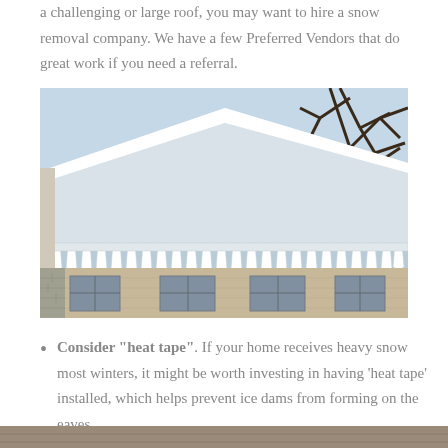a challenging or large roof, you may want to hire a snow removal company. We have a few Preferred Vendors that do great work if you need a referral.
[Figure (photo): Photo of a snow-covered house roof with icicles hanging from the eaves, trees visible in the background.]
Consider "heat tape". If your home receives heavy snow most winters, it might be worth investing in having 'heat tape' installed, which helps prevent ice dams from forming on the eaves.
[Figure (photo): Partial photo visible at the bottom of the page.]